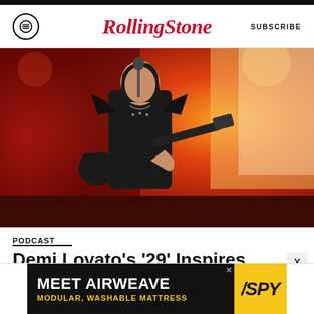Rolling Stone — SUBSCRIBE
[Figure (photo): Demi Lovato performing on stage wearing a black leather outfit with studded shoulder armor, playing a black electric guitar, with orange/red fire and stage lighting in the background]
PODCAST
Demi Lovato's '29' Inspires TikTokers to Call Out Much Older Exes
[Figure (infographic): Advertisement banner: MEET AIRWEAVE / MODULAR, WASHABLE MATTRESS with SPY logo on yellow background]